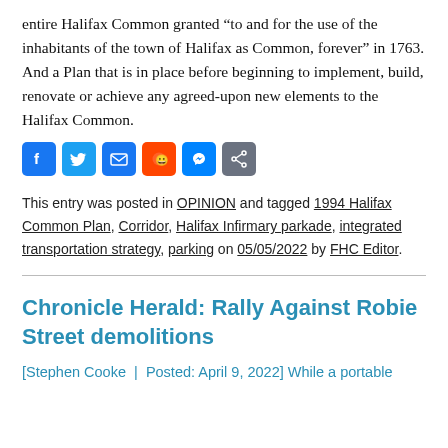entire Halifax Common granted “to and for the use of the inhabitants of the town of Halifax as Common, forever” in 1763. And a Plan that is in place before beginning to implement, build, renovate or achieve any agreed-upon new elements to the Halifax Common.
[Figure (other): Social sharing icons: Facebook, Twitter, Email, Reddit, Messenger, Share]
This entry was posted in OPINION and tagged 1994 Halifax Common Plan, Corridor, Halifax Infirmary parkade, integrated transportation strategy, parking on 05/05/2022 by FHC Editor.
Chronicle Herald: Rally Against Robie Street demolitions
[Stephen Cooke  |  Posted: April 9, 2022] While a portable